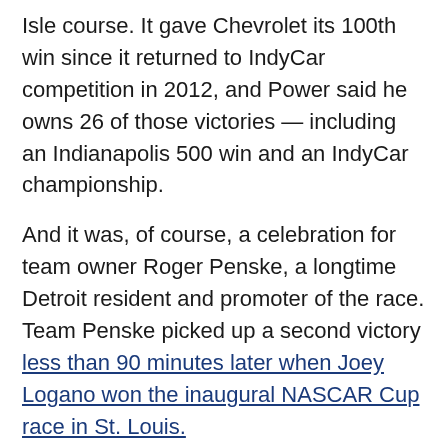Isle course. It gave Chevrolet its 100th win since it returned to IndyCar competition in 2012, and Power said he owns 26 of those victories — including an Indianapolis 500 win and an IndyCar championship.
And it was, of course, a celebration for team owner Roger Penske, a longtime Detroit resident and promoter of the race. Team Penske picked up a second victory less than 90 minutes later when Joey Logano won the inaugural NASCAR Cup race in St. Louis.
For Power, the 41st win of his career moved him within one of Michael Andretti for fourth place.
Rossi, who this week confirmed he's moving to Arrow McLaren SP next season, used a three-stop strategy to rally from his 11th-place starting position and drive through the field to contend for the win. But Power...